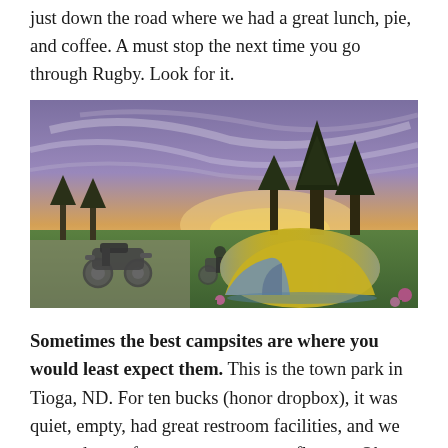just down the road where we had a great lunch, pie, and coffee. A must stop the next time you go through Rugby. Look for it.
[Figure (photo): A yellow and blue tent pitched on green grass at sunset in a town park. Two motorcycles are parked on a paved area to the left. Trees and a colorful purple and orange sunset sky are in the background.]
Sometimes the best campsites are where you would least expect them. This is the town park in Tioga, ND. For ten bucks (honor dropbox), it was quiet, empty, had great restroom facilities, and we camped on soft, green grass among flowers. Oh, yeah; there was a train in the middle